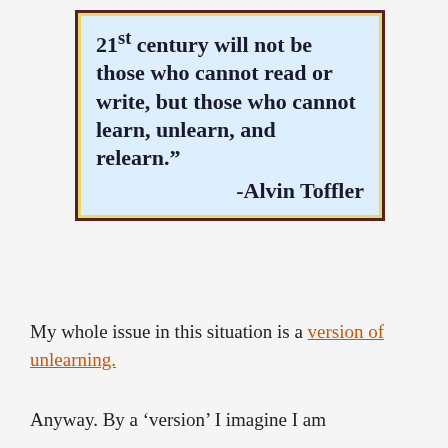[Figure (illustration): A quote box with light blue background and dark red border with yellow outline. Text reads: '21st century will not be those who cannot read or write, but those who cannot learn, unlearn, and relearn.' -Alvin Toffler]
My whole issue in this situation is a version of unlearning.
Anyway. By a 'version' I imagine I am